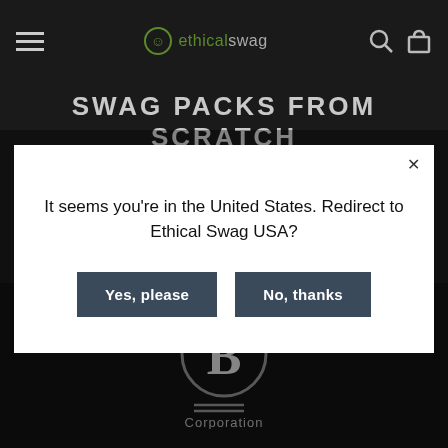ethical swag — navigation header with hamburger menu, logo, search and cart icons
SWAG PACKS FROM SCRATCH
It seems you're in the United States. Redirect to Ethical Swag USA?
Yes, please
No, thanks
[Figure (logo): B Corporation logo — circle with B, two horizontal lines, text 'Corporation']